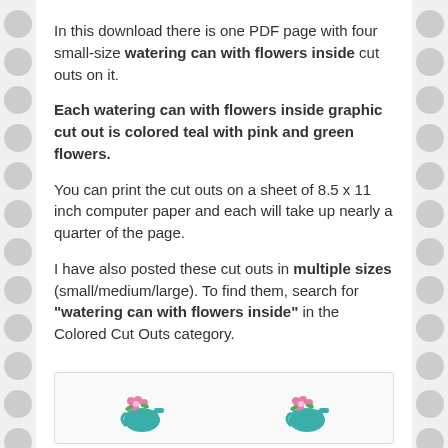In this download there is one PDF page with four small-size watering can with flowers inside cut outs on it.
Each watering can with flowers inside graphic cut out is colored teal with pink and green flowers.
You can print the cut outs on a sheet of 8.5 x 11 inch computer paper and each will take up nearly a quarter of the page.
I have also posted these cut outs in multiple sizes (small/medium/large). To find them, search for "watering can with flowers inside" in the Colored Cut Outs category.
[Figure (illustration): Preview box showing two small pink flower/watering can cut out illustrations at the bottom of the page]